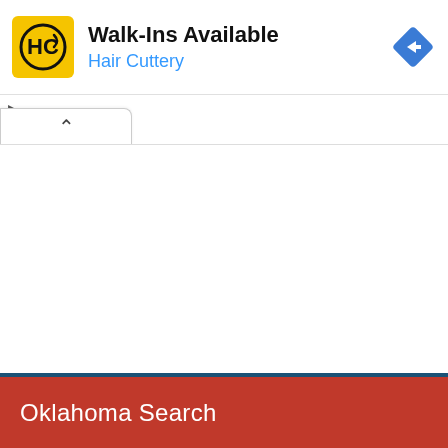[Figure (screenshot): Hair Cuttery advertisement banner with yellow square HC logo, 'Walk-Ins Available' headline, 'Hair Cuttery' blue subtitle, and blue diamond navigation icon on the right]
Walk-Ins Available
Hair Cuttery
[Figure (screenshot): Tab/panel area with an upward chevron arrow indicating collapsible UI element]
Oklahoma Search